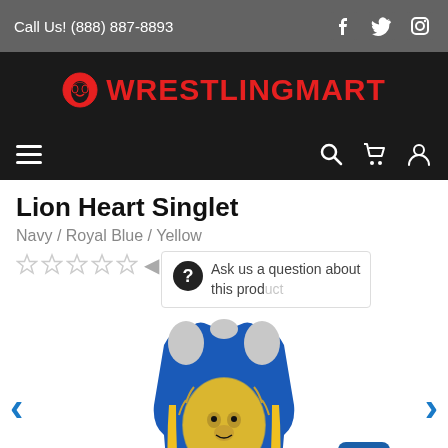Call Us! (888) 887-8893
[Figure (logo): WrestlingMart logo with red text and wrestling mask icon on black background]
Lion Heart Singlet
Navy / Royal Blue / Yellow
Star rating (0 of 5 stars)
Ask us a question about this product
[Figure (photo): Blue and yellow Lion Heart wrestling singlet with lion face graphic on front]